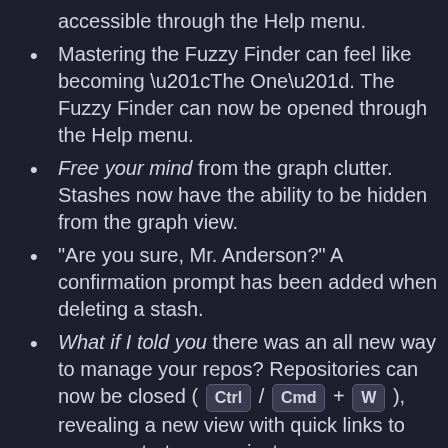accessible through the Help menu.
Mastering the Fuzzy Finder can feel like becoming “The One”. The Fuzzy Finder can now be opened through the Help menu.
Free your mind from the graph clutter. Stashes now have the ability to be hidden from the graph view.
“Are you sure, Mr. Anderson?” A confirmation prompt has been added when deleting a stash.
What if I told you there was an all new way to manage your repos? Repositories can now be closed ( Ctrl / Cmd + W ), revealing a new view with quick links to open or start new projects.
It doesn’t take a visit to the Oracle to know that you’re ready to commit.